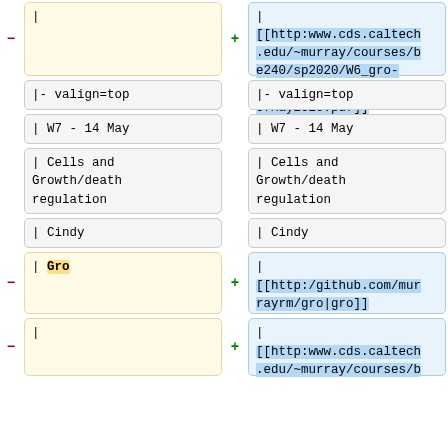| (removed left cell, top)
| [[http:www.cds.caltech.edu/~murray/courses/be240/sp2020/W6_gro-07May2020.pdf|W6_gro-07May2020.pdf]] (added right cell, top)
|- valign=top
|- valign=top
| W7 - 14 May
| W7 - 14 May
| Cells and Growth/death regulation
| Cells and Growth/death regulation
| Cindy
| Cindy
| Gro (removed)
| [[http:/github.com/murrayrm/gro|gro]] (added)
| (removed bottom)
| [[http:www.cds.caltech.edu/~murray/courses/b (added bottom)